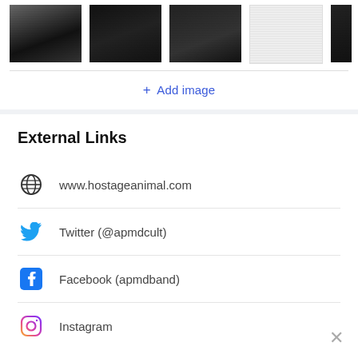[Figure (photo): Row of black and white band/concert photos, partially visible at the top of the page]
+ Add image
External Links
www.hostageanimal.com
Twitter (@apmdcult)
Facebook (apmdband)
Instagram